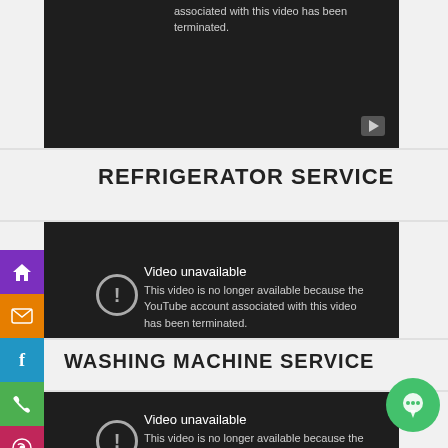[Figure (screenshot): YouTube video unavailable message (top, cropped): 'associated with this video has been terminated.' with play button icon, dark background]
REFRIGERATOR SERVICE
[Figure (screenshot): YouTube video unavailable message: 'Video unavailable - This video is no longer available because the YouTube account associated with this video has been terminated.' with exclamation icon and play button, dark background]
WASHING MACHINE SERVICE
[Figure (screenshot): YouTube video unavailable message (bottom, cropped): 'Video unavailable - This video is no longer available because the YouTube account' with exclamation icon, dark background]
[Figure (other): Side toolbar with home, mail, Facebook, phone, WhatsApp icons in colored buttons (purple, orange, blue, green, red)]
[Figure (other): Green chat bubble button in bottom right corner]